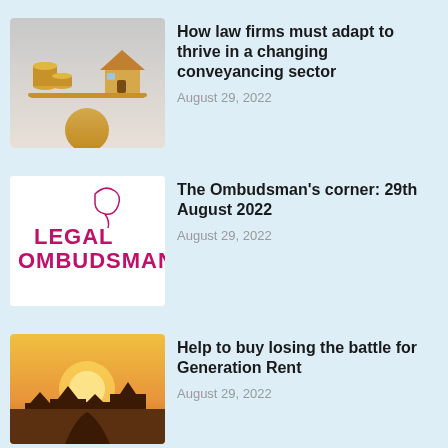[Figure (photo): Balance scale with gold coins on one side and a wooden house on the other, balanced on a sphere, light grey background]
How law firms must adapt to thrive in a changing conveyancing sector
August 29, 2022
[Figure (logo): Legal Ombudsman logo - pink/magenta text on white background]
The Ombudsman's corner: 29th August 2022
August 29, 2022
[Figure (photo): Golden sunrise over silhouetted houses, warm yellow and orange tones]
Help to buy losing the battle for Generation Rent
August 29, 2022